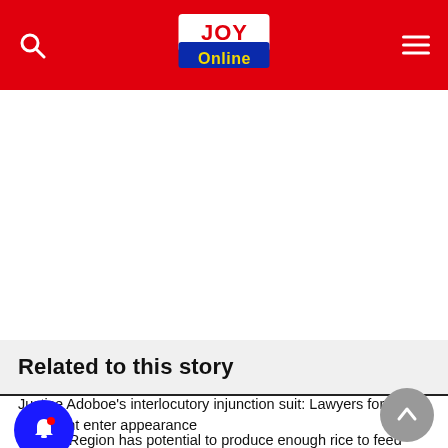JOY Online
Related to this story
Justice Adoboe's interlocutory injunction suit: Lawyers for GJA President enter appearance
Central Region has potential to produce enough rice to feed Ghana – Minister
Affail Monney hands over GJA presidency to Kwabena Dwumfuor